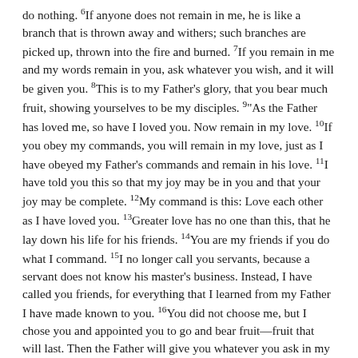do nothing. 6If anyone does not remain in me, he is like a branch that is thrown away and withers; such branches are picked up, thrown into the fire and burned. 7If you remain in me and my words remain in you, ask whatever you wish, and it will be given you. 8This is to my Father's glory, that you bear much fruit, showing yourselves to be my disciples. 9"As the Father has loved me, so have I loved you. Now remain in my love. 10If you obey my commands, you will remain in my love, just as I have obeyed my Father's commands and remain in his love. 11I have told you this so that my joy may be in you and that your joy may be complete. 12My command is this: Love each other as I have loved you. 13Greater love has no one than this, that he lay down his life for his friends. 14You are my friends if you do what I command. 15I no longer call you servants, because a servant does not know his master's business. Instead, I have called you friends, for everything that I learned from my Father I have made known to you. 16You did not choose me, but I chose you and appointed you to go and bear fruit—fruit that will last. Then the Father will give you whatever you ask in my name. 17This is my command: Love each other
1 Corinthians 13 (New International Version)